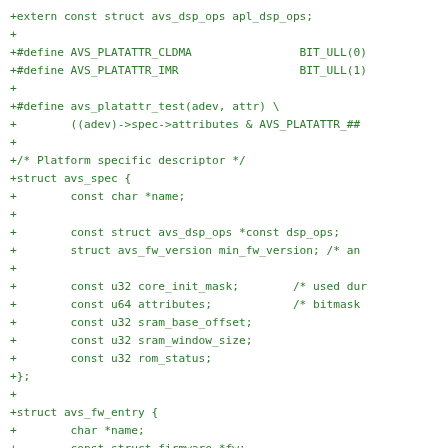+extern const struct avs_dsp_ops apl_dsp_ops;
+
+#define AVS_PLATATTR_CLDMA                BIT_ULL(0)
+#define AVS_PLATATTR_IMR                  BIT_ULL(1)
+
+#define avs_platattr_test(adev, attr) \
+        ((adev)->spec->attributes & AVS_PLATATTR_##
+
+/* Platform specific descriptor */
+struct avs_spec {
+        const char *name;
+
+        const struct avs_dsp_ops *const dsp_ops;
+        struct avs_fw_version min_fw_version; /* an
+
+        const u32 core_init_mask;        /* used dur
+        const u64 attributes;            /* bitmask
+        const u32 sram_base_offset;
+        const u32 sram_window_size;
+        const u32 rom_status;
+};
+
+struct avs_fw_entry {
+        char *name;
+        const struct firmware *fw;
+
+